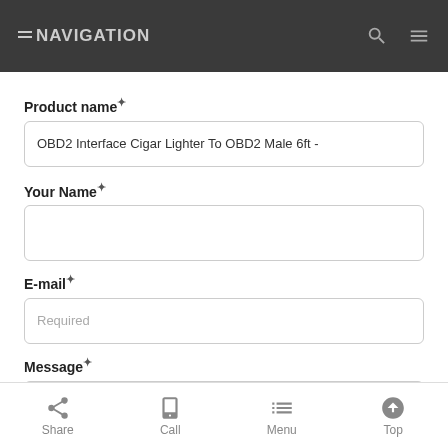NAVIGATION
Product name*
OBD2 Interface Cigar Lighter To OBD2 Male 6ft -
Your Name*
E-mail*
Required
Message*
Share  Call  Menu  Top